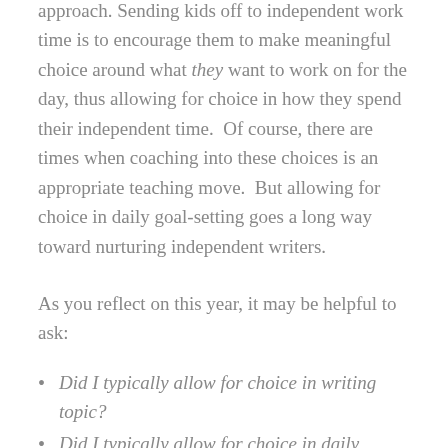approach. Sending kids off to independent work time is to encourage them to make meaningful choice around what they want to work on for the day, thus allowing for choice in how they spend their independent time.  Of course, there are times when coaching into these choices is an appropriate teaching move.  But allowing for choice in daily goal-setting goes a long way toward nurturing independent writers.
As you reflect on this year, it may be helpful to ask:
Did I typically allow for choice in writing topic?
Did I typically allow for choice in daily writing goals?
Did I allow for choice in...